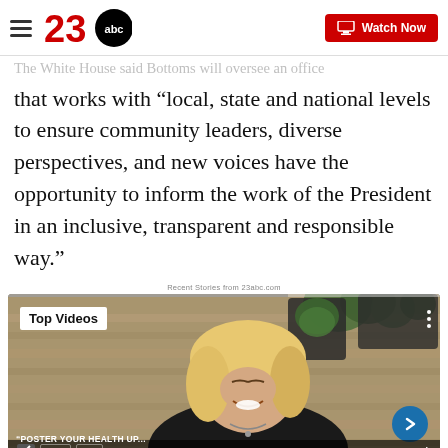23abc — Watch Now
The White House said Bottoms will oversee an office that works with “local, state and national levels to ensure community leaders, diverse perspectives, and new voices have the opportunity to inform the work of the President in an inclusive, transparent and responsible way.”
Recent Stories from 23abc.com
[Figure (screenshot): Video thumbnail showing a smiling blonde woman in a black t-shirt against a wood-panel background. Overlay reads 'Top Videos'. Bottom bar shows channel tags 'NNEC' and 'YOU' with a blue arrow button and time indicator '11h'.]